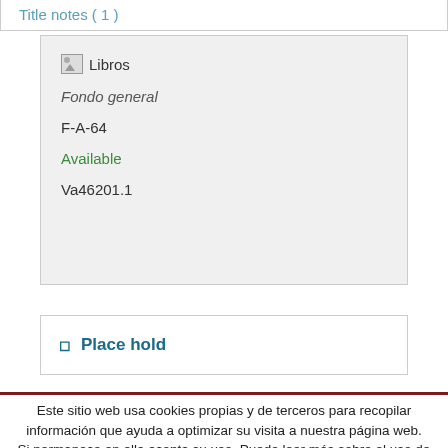Title notes ( 1 )
Libros Libros
Fondo general
F-A-64
Available
Va46201.1
Place hold
Este sitio web usa cookies propias y de terceros para recopilar información que ayuda a optimizar su visita a nuestra página web. Si permanece en ella acepta su uso. Puede leer más sobre el uso de cookies en nuestras política de cookies y política de